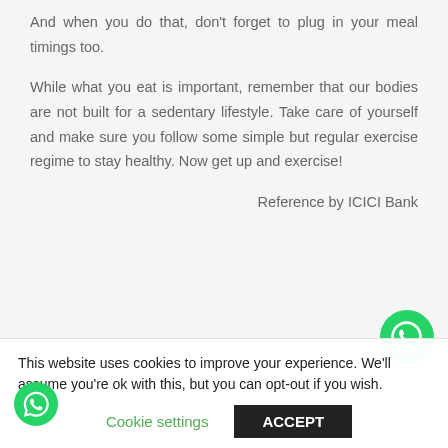And when you do that, don't forget to plug in your meal timings too.
While what you eat is important, remember that our bodies are not built for a sedentary lifestyle. Take care of yourself and make sure you follow some simple but regular exercise regime to stay healthy. Now get up and exercise!
Reference by ICICI Bank
This website uses cookies to improve your experience. We'll assume you're ok with this, but you can opt-out if you wish.